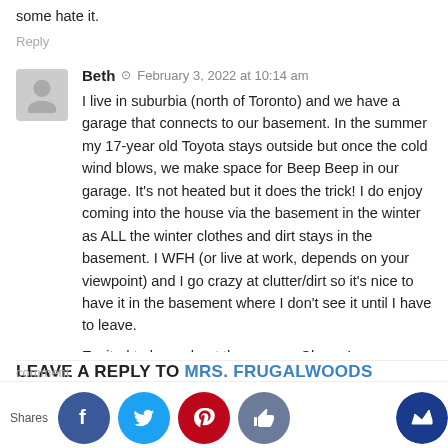some hate it.
Reply
Beth · February 3, 2022 at 10:14 am
I live in suburbia (north of Toronto) and we have a garage that connects to our basement. In the summer my 17-year old Toyota stays outside but once the cold wind blows, we make space for Beep Beep in our garage. It's not heated but it does the trick! I do enjoy coming into the house via the basement in the winter as ALL the winter clothes and dirt stays in the basement. I WFH (or live at work, depends on your viewpoint) and I go crazy at clutter/dirt so it's nice to have it in the basement where I don't see it until I have to leave.
Excited to hear about the garage. Cheers!
Reply
LEAVE A REPLY TO MRS. FRUGALWOODS
Shares
Comment